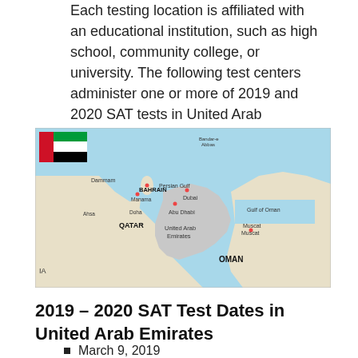Each testing location is affiliated with an educational institution, such as high school, community college, or university. The following test centers administer one or more of 2019 and 2020 SAT tests in United Arab Emirates.
[Figure (map): Map showing United Arab Emirates and surrounding region including Bahrain, Qatar, Oman, Persian Gulf, Gulf of Oman. UAE flag shown in upper left corner of map. Cities labeled: Dammam, Manama, Doha, Ahsa, Dubai, Abu Dhabi, Muscat. Country labels: BAHRAIN, QATAR, United Arab Emirates, OMAN.]
2019 – 2020 SAT Test Dates in United Arab Emirates
March 9, 2019